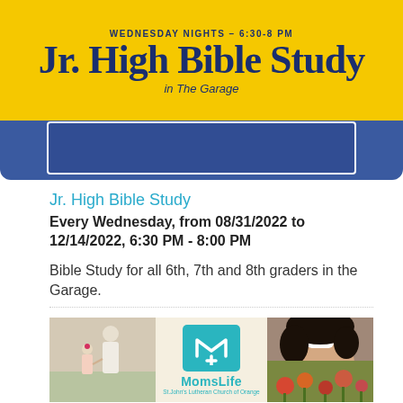[Figure (illustration): Jr. High Bible Study promotional banner: yellow top with title 'WEDNESDAY NIGHTS – 6:30-8 PM' and 'Jr. High Bible Study in The Garage' in dark blue text on yellow background, blue bottom section with white bordered rectangle]
Jr. High Bible Study
Every Wednesday, from 08/31/2022 to 12/14/2022, 6:30 PM - 8:00 PM
Bible Study for all 6th, 7th and 8th graders in the Garage.
[Figure (photo): Collage of three images: left shows an adult and child holding hands in a field, center shows MomsLife logo (teal square with M and cross symbol) with text 'MomsLife St.John's Lutheran Church of Orange' on cream background, right shows a woman smiling and below that colorful flowers]